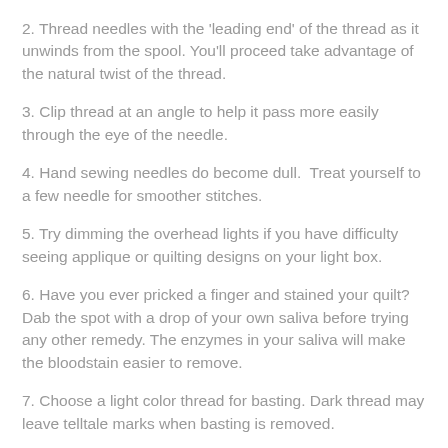2. Thread needles with the 'leading end' of the thread as it unwinds from the spool. You'll proceed take advantage of the natural twist of the thread.
3. Clip thread at an angle to help it pass more easily through the eye of the needle.
4. Hand sewing needles do become dull.  Treat yourself to a few needle for smoother stitches.
5. Try dimming the overhead lights if you have difficulty seeing applique or quilting designs on your light box.
6. Have you ever pricked a finger and stained your quilt? Dab the spot with a drop of your own saliva before trying any other remedy. The enzymes in your saliva will make the bloodstain easier to remove.
7. Choose a light color thread for basting. Dark thread may leave telltale marks when basting is removed.